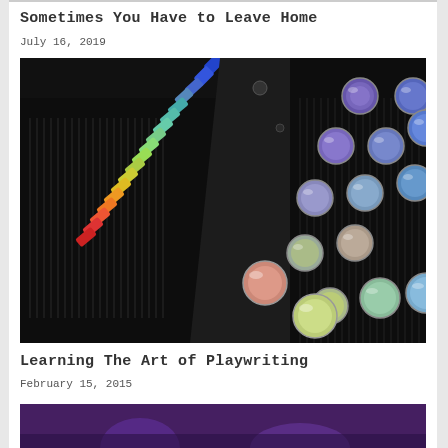Sometimes You Have to Leave Home
July 16, 2019
[Figure (photo): Close-up photo of a colorful typewriter with rainbow-colored keys arranged in a diagonal line, with round iridescent/multicolored key caps visible in the foreground and background]
Learning The Art of Playwriting
February 15, 2015
[Figure (photo): Partial view of a photo showing a person, cropped at the bottom of the page]